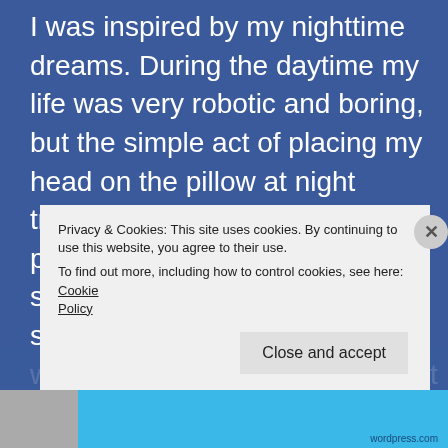I was inspired by my nighttime dreams. During the daytime my life was very robotic and boring, but the simple act of placing my head on the pillow at night transformed me into a different person. In my dreams, I was a star-fighter killing aliens in space, a spy killing terrorists, I was an assistant to the president of the United States dialing up Vladimir Putin.
Privacy & Cookies: This site uses cookies. By continuing to use this website, you agree to their use.
To find out more, including how to control cookies, see here: Cookie Policy
Close and accept